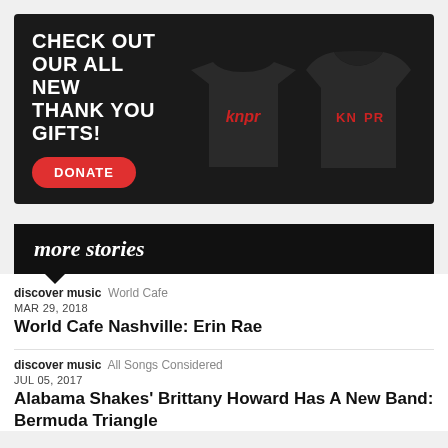[Figure (infographic): KNPR advertisement banner showing two black merchandise items (t-shirt and hoodie) with red KNPR logo text. Left side reads CHECK OUT OUR ALL NEW THANK YOU GIFTS! with a red DONATE button.]
more stories
discover music  World Cafe
MAR 29, 2018
World Cafe Nashville: Erin Rae
discover music  All Songs Considered
JUL 05, 2017
Alabama Shakes' Brittany Howard Has A New Band: Bermuda Triangle